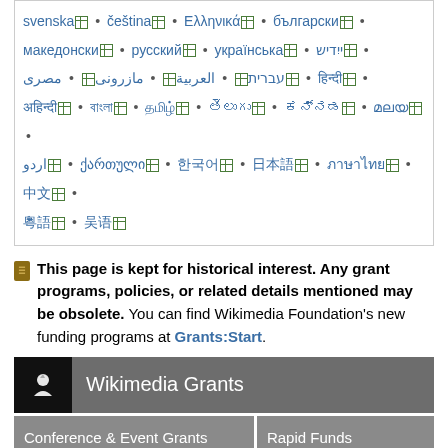svenska • čeština • Ελληνικά • български • македонски • русский • українська • ייִדיש • עברית • العربية • مازرونی • مصرى • हिन्दी • (various scripts) • ქართული • 한국어 • (various scripts) • 粵語 • 中文
This page is kept for historical interest. Any grant programs, policies, or related details mentioned may be obsolete. You can find Wikimedia Foundation's new funding programs at Grants:Start.
[Figure (infographic): Wikimedia Grants banner with logo and navigation buttons: Conference & Event Grants, Rapid Funds, Project Grants, Simple Annual Plan Grants]